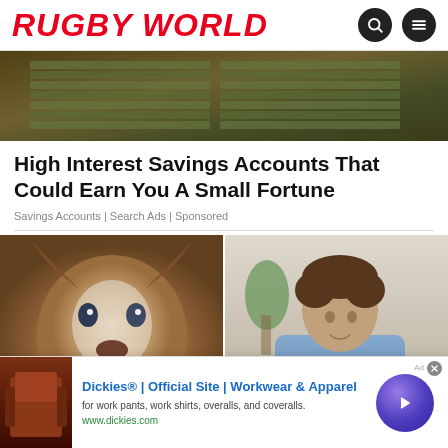RUGBY WORLD
[Figure (photo): Stack of US dollar bills bundles piled high, money background image]
High Interest Savings Accounts That Could Earn You A Small Fortune
Savings Accounts | Search Ads | Sponsored
[Figure (photo): Split image: left side shows a smiling Husky dog facing camera, right side shows a man in a blue shirt looking down at a desk]
[Figure (photo): Advertisement banner: Dickies Official Site - Workwear and Apparel. for work pants, work shirts, overalls, and coveralls. www.dickies.com]